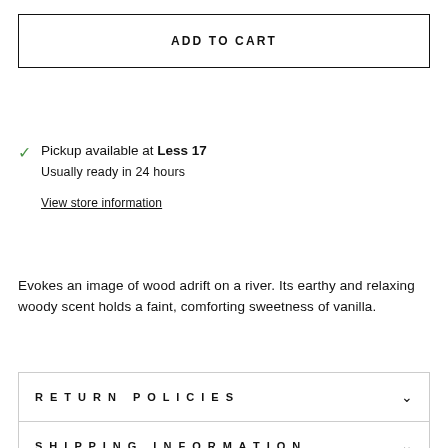ADD TO CART
Pickup available at Less 17
Usually ready in 24 hours

View store information
Evokes an image of wood adrift on a river. Its earthy and relaxing woody scent holds a faint, comforting sweetness of vanilla.
RETURN POLICIES
SHIPPING INFORMATION
ASK A QUESTION